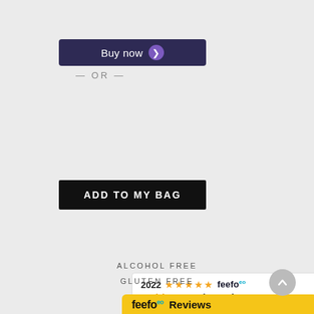[Figure (other): Buy now button with purple arrow icon on dark navy background]
[Figure (other): Feefo service rating badge with 5 gold stars and 163 reviews]
— OR —
[Figure (other): ADD TO MY BAG button, black background white text]
[Figure (other): 2022 Feefo Gold Trusted Service Award badge with 5 gold stars]
[Figure (other): Share bar with SHARE label and social icons for Facebook, Twitter, Email in teal on black background]
ALCOHOL FREE
GLUTEN FREE
[Figure (logo): Feefo Reviews yellow badge]
[Figure (other): Back to top button, grey circle with upward arrow]